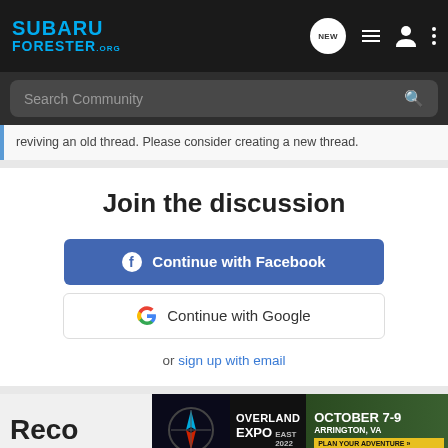[Figure (screenshot): Subaru Forester .org website header with logo, navigation icons including NEW bubble, list icon, user icon, and three-dot menu]
[Figure (screenshot): Search Community search bar with magnifying glass icon on dark background]
reviving an old thread. Please consider creating a new thread.
Join the discussion
[Figure (screenshot): Continue with Facebook button in blue with Facebook logo]
[Figure (screenshot): Continue with Google button in white with Google G logo]
or sign up with email
Reco
[Figure (photo): Overland Expo East 2022 advertisement banner - October 7-9, Arrington, VA - Plan Your Adventure]